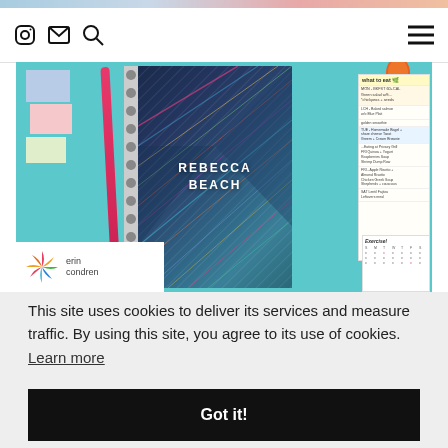[Figure (screenshot): Website page showing a cookie consent overlay on an Erin Condren stationery/planner website. Top navigation bar with Instagram, email, search icons and a hamburger menu. Hero image showing a personalized planner labeled 'REBECCA BEACH' with pens, sticky notes, and a flower on a teal background, plus the Erin Condren logo. A cookie consent banner reads 'This site uses cookies to deliver its services and measure traffic. By using this site, you agree to its use of cookies. Learn more' with a black 'Got it!' button.]
This site uses cookies to deliver its services and measure traffic. By using this site, you agree to its use of cookies.  Learn more
Got it!